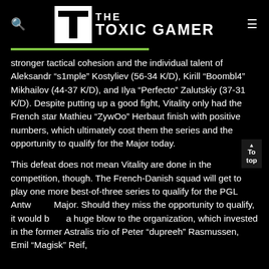THE TOXIC GAMER
stronger tactical cohesion and the individual talent of Aleksandr “s1mple” Kostyliev (56-34 K/D), Kirill “Boombl4” Mikhailov (44-37 K/D), and Ilya “Perfecto” Zalutskiy (37-31 K/D). Despite putting up a good fight, Vitality only had the French star Mathieu “ZywOo” Herbaut finish with positive numbers, which ultimately cost them the series and the opportunity to qualify for the Major today.
This defeat does not mean Vitality are done in the competition, though. The French-Danish squad will get to play one more best-of-three series to qualify for the PGL Antwerp Major. Should they miss the opportunity to qualify, it would be a huge blow to the organization, which invested in the former Astralis trio of Peter “dupreeh” Rasmussen, Emil “Magisk” Reif,